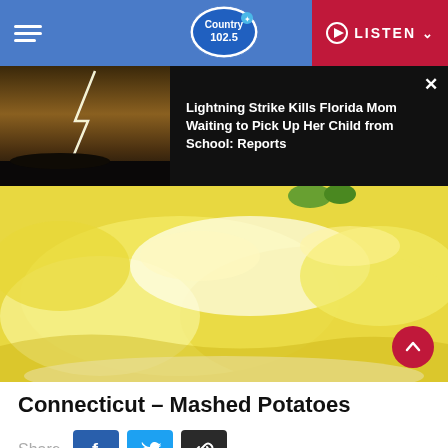Country 102.5 — LISTEN
[Figure (screenshot): News banner with lightning strike photo and headline: Lightning Strike Kills Florida Mom Waiting to Pick Up Her Child from School: Reports]
Lightning Strike Kills Florida Mom Waiting to Pick Up Her Child from School: Reports
[Figure (photo): Close-up photo of mashed potatoes with butter on a white plate]
Connecticut – Mashed Potatoes
Share